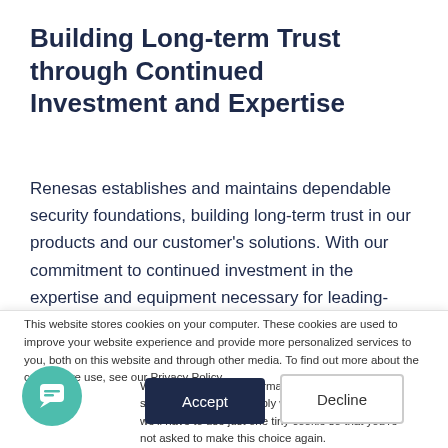Building Long-term Trust through Continued Investment and Expertise
Renesas establishes and maintains dependable security foundations, building long-term trust in our products and our customer's solutions. With our commitment to continued investment in the expertise and equipment necessary for leading-edge new product development,
This website stores cookies on your computer. These cookies are used to improve your website experience and provide more personalized services to you, both on this website and through other media. To find out more about the cookies we use, see our Privacy Policy.
We won't track your information when you visit our site. But in order to comply with your preferences, we'll have to use just one tiny cookie so that you're not asked to make this choice again.
[Figure (illustration): Teal circular chat bubble icon button]
Accept
Decline